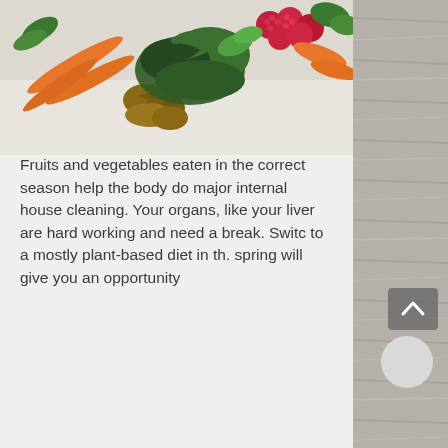[Figure (photo): Assorted fresh spring fruits and vegetables including carrots, raspberries, leafy greens, and walnuts on a white surface]
2. Enjoy the delicious spring fruits and vegetables available. They're not only fresher, they actually cost less and tastes better. They contain the microbes that your body recognizes and needs to thrive.
Fruits and vegetables eaten in the correct season help the body do major internal house cleaning. Your organs, like your liver are hard working and need a break. Switc to a mostly plant-based diet in th. spring will give you an opportunity